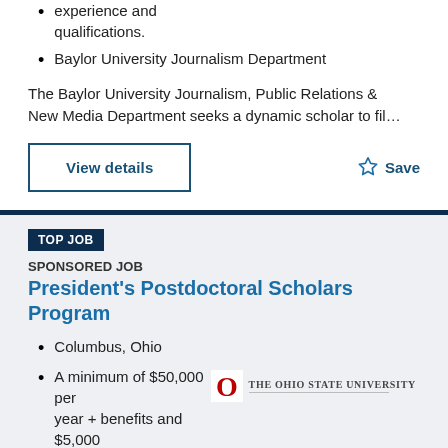experience and qualifications.
Baylor University Journalism Department
The Baylor University Journalism, Public Relations & New Media Department seeks a dynamic scholar to fil…
View details
Save
TOP JOB
SPONSORED JOB
President's Postdoctoral Scholars Program
Columbus, Ohio
A minimum of $50,000 per year + benefits and $5,000 per year for research expenses
[Figure (logo): The Ohio State University logo with red O and university name]